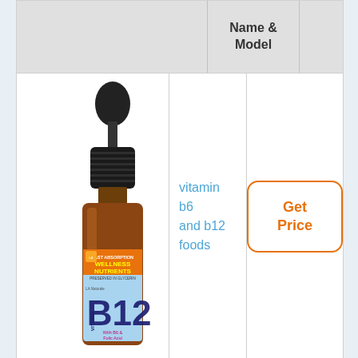|  | Name & Model |  |
| --- | --- | --- |
| [product image: Vitamin B12 dropper bottle] | vitamin b6 and b12 foods | [Get Price button] |
[Figure (photo): Amber glass dropper bottle of Vitamin B12 supplement with black rubber dropper cap. Label reads: FAST ABSORPTION WELLNESS NUTRIENTS, PRESERVED IN GLYCERIN, VITAMIN B12, With B6 & Folic Acid. LA Naturals brand.]
vitamin b6 and b12 foods
Get Price